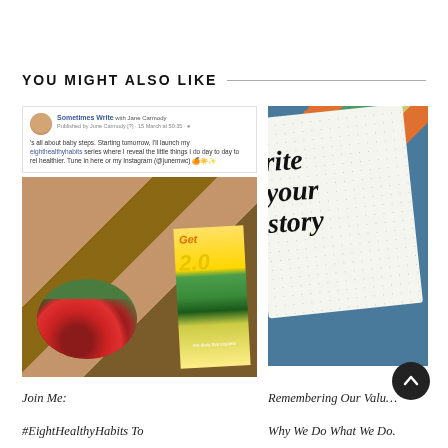YOU MIGHT ALSO LIKE
[Figure (screenshot): Facebook post screenshot from Sometimes Write with Jane Carmody, showing a post about baby steps and eighthealthyhabits series with food photo and book cover]
[Figure (photo): Photo of a white notebook/journal with 'write your story' in cursive script, placed on colorful striped surface]
Join Me: #EightHealthyHabits To
Remembering Our Values. Why We Do What We Do.